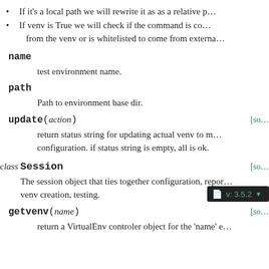If it's a local path we will rewrite it as as a relative p…
If venv is True we will check if the command is co… from the venv or is whitelisted to come from externa…
name
test environment name.
path
Path to environment base dir.
update(action)
return status string for updating actual venv to m… configuration. if status string is empty, all is ok.
class Session
The session object that ties together configuration, repor… venv creation, testing.
getvenv(name)
return a VirtualEnv controler object for the 'name' e…